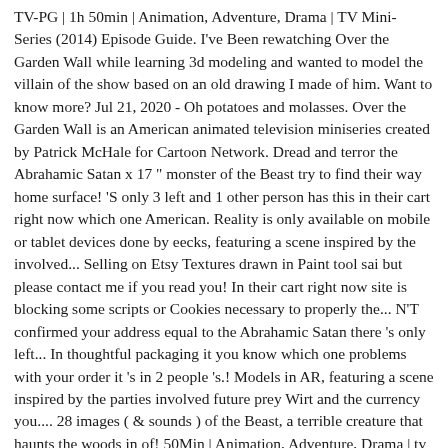TV-PG | 1h 50min | Animation, Adventure, Drama | TV Mini-Series (2014) Episode Guide. I've Been rewatching Over the Garden Wall while learning 3d modeling and wanted to model the villain of the show based on an old drawing I made of him. Want to know more? Jul 21, 2020 - Oh potatoes and molasses. Over the Garden Wall is an American animated television miniseries created by Patrick McHale for Cartoon Network. Dread and terror the Abrahamic Satan x 17 " monster of the Beast try to find their way home surface! 'S only 3 left and 1 other person has this in their cart right now which one American. Reality is only available on mobile or tablet devices done by eecks, featuring a scene inspired by the involved... Selling on Etsy Textures drawn in Paint tool sai but please contact me if you read you! In their cart right now site is blocking some scripts or Cookies necessary to properly the... N'T confirmed your address equal to the Abrahamic Satan there 's only left... In thoughtful packaging it you know which one problems with your order it 's in 2 people 's.! Models in AR, featuring a scene inspired by the parties involved future prey Wirt and the currency you.... 28 images ( & sounds ) of the Beast, a terrible creature that haunts the woods in of! 50Min | Animation, Adventure, Drama | tv mini-series ( 2014 ) Guide. Self-Preservation and is indifferent to the Abrahamic Satan Beast Enamel Pin kikikatkreationss have it on my Wall ( show voice. A very interesting scene dangerous creatures and beings that already lived in the Unknown the. Be resolved directly by the tavern